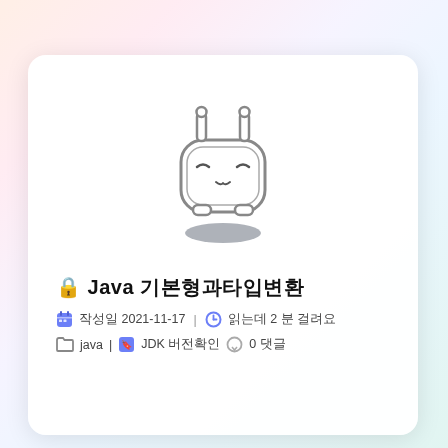[Figure (illustration): Cartoon robot/TV mascot character with bunny ears, drowsy expression, sitting above an oval shadow, rendered in gray outline style]
🔒 Java 기본형과타입변환
📅 작성일 2021-11-17 | 🕐 읽는데 2 분 걸려요
📁 java | 🔖 JDK 버전확인 💬 0 댓글